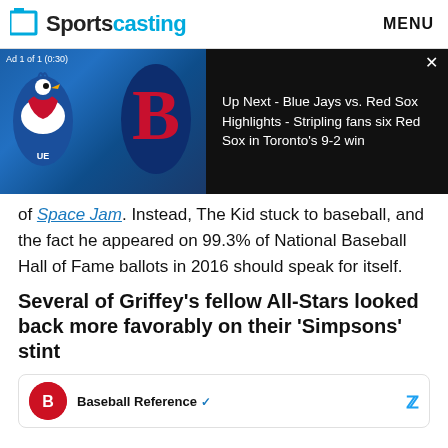Sportscasting  MENU
[Figure (screenshot): Video ad overlay showing Blue Jays vs Red Sox logos on dark background. Ad label: 'Ad 1 of 1 (0:30)'. Text reads: 'Up Next - Blue Jays vs. Red Sox Highlights - Stripling fans six Red Sox in Toronto's 9-2 win'. Close button (x) top right.]
of Space Jam. Instead, The Kid stuck to baseball, and the fact he appeared on 99.3% of National Baseball Hall of Fame ballots in 2016 should speak for itself.
Several of Griffey's fellow All-Stars looked back more favorably on their 'Simpsons' stint
Baseball Reference